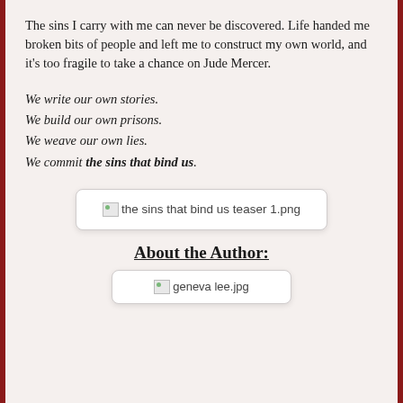The sins I carry with me can never be discovered. Life handed me broken bits of people and left me to construct my own world, and it's too fragile to take a chance on Jude Mercer.
We write our own stories.
We build our own prisons.
We weave our own lies.
We commit the sins that bind us.
[Figure (photo): Broken image placeholder labeled 'the sins that bind us teaser 1.png']
About the Author:
[Figure (photo): Broken image placeholder labeled 'geneva lee.jpg']